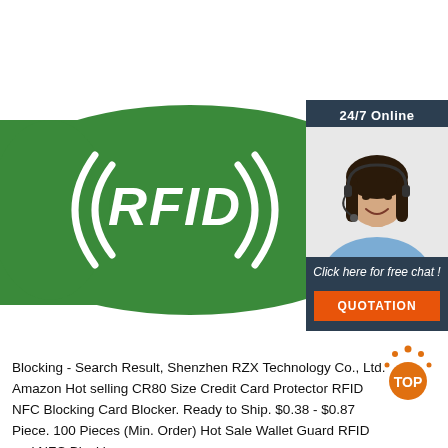[Figure (photo): Green RFID blocking card with white ((RFID)) logo text on it, product photo against white background]
[Figure (infographic): 24/7 Online chat widget overlay with female customer service agent wearing headset, dark navy background, 'Click here for free chat!' text and orange QUOTATION button]
[Figure (logo): TOP logo with orange dots forming an arch above orange circular elements and 'TOP' text in orange]
Blocking - Search Result, Shenzhen RZX Technology Co., Ltd. Amazon Hot selling CR80 Size Credit Card Protector RFID NFC Blocking Card Blocker. Ready to Ship. $0.38 - $0.87 Piece. 100 Pieces (Min. Order) Hot Sale Wallet Guard RFID and NFC Blocking